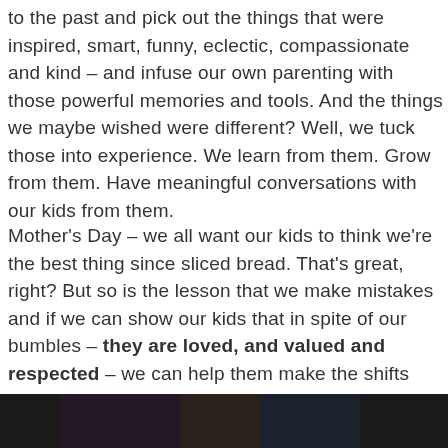to the past and pick out the things that were inspired, smart, funny, eclectic, compassionate and kind – and infuse our own parenting with those powerful memories and tools. And the things we maybe wished were different? Well, we tuck those into experience. We learn from them. Grow from them. Have meaningful conversations with our kids from them.
Mother's Day – we all want our kids to think we're the best thing since sliced bread. That's great, right? But so is the lesson that we make mistakes and if we can show our kids that in spite of our bumbles – they are loved, and valued and respected – we can help them make the shifts and changes each generation before has done to make a better life for the next in line.
[Figure (photo): Dark photograph visible at the bottom of the page, partially cropped]